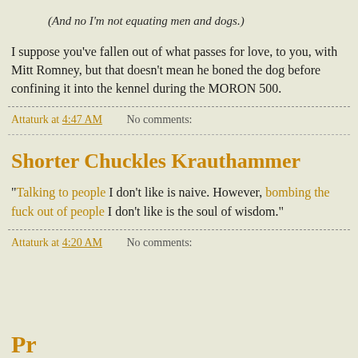(And no I'm not equating men and dogs.)
I suppose you've fallen out of what passes for love, to you, with Mitt Romney, but that doesn't mean he boned the dog before confining it into the kennel during the MORON 500.
Attaturk at 4:47 AM    No comments:
Shorter Chuckles Krauthammer
"Talking to people I don't like is naive. However, bombing the fuck out of people I don't like is the soul of wisdom."
Attaturk at 4:20 AM    No comments:
Pr...